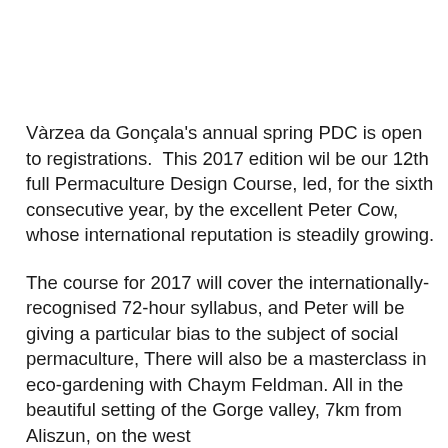Vàrzea da Gonçala's annual spring PDC is open to registrations.  This 2017 edition wil be our 12th full Permaculture Design Course, led, for the sixth consecutive year, by the excellent Peter Cow, whose international reputation is steadily growing.
The course for 2017 will cover the internationally-recognised 72-hour syllabus, and Peter will be giving a particular bias to the subject of social permaculture, There will also be a masterclass in eco-gardening with Chaym Feldman. All in the beautiful setting of the Gorge valley, 7km from Aliszun, on the west...